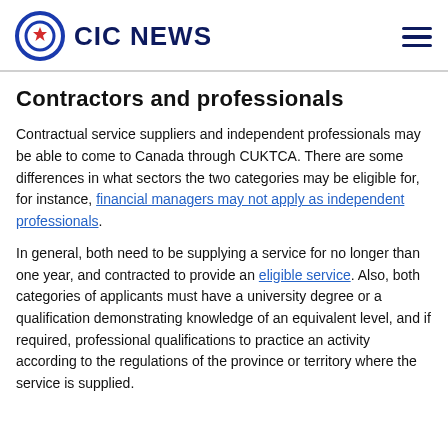CIC NEWS
Contractors and professionals
Contractual service suppliers and independent professionals may be able to come to Canada through CUKTCA. There are some differences in what sectors the two categories may be eligible for, for instance, financial managers may not apply as independent professionals.
In general, both need to be supplying a service for no longer than one year, and contracted to provide an eligible service. Also, both categories of applicants must have a university degree or a qualification demonstrating knowledge of an equivalent level, and if required, professional qualifications to practice an activity according to the regulations of the province or territory where the service is supplied.